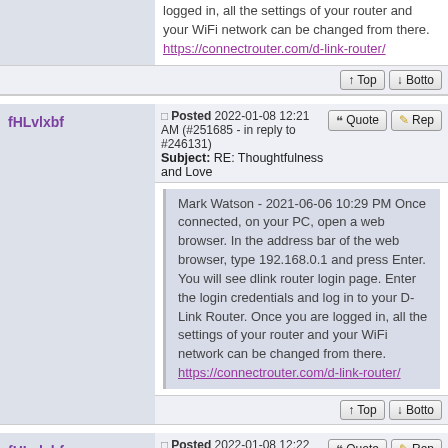logged in, all the settings of your router and your WiFi network can be changed from there. https://connectrouter.com/d-link-router/
Posted 2022-01-08 12:21 AM (#251685 - in reply to #246131) Subject: RE: Thoughtfulness and Love
fHLvlxbf
Mark Watson - 2021-06-06 10:29 PM Once connected, on your PC, open a web browser. In the address bar of the web browser, type 192.168.0.1 and press Enter. You will see dlink router login page. Enter the login credentials and log in to your D-Link Router. Once you are logged in, all the settings of your router and your WiFi network can be changed from there. https://connectrouter.com/d-link-router/
Posted 2022-01-08 12:22 AM (#251688 - in reply to #246131) Subject: RE: Thoughtfulness and Love
fHLvlxbf
Mark Watson - 2021-06-06 10:29 PM Once connected, on your PC, open a web browser. In the address bar of the web browser, type 192.168.0.1 and press Enter. You will see dlink router login page. Enter the login credentials